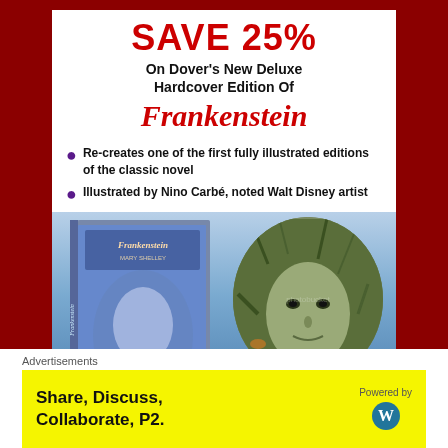[Figure (illustration): Advertisement for Dover's New Deluxe Hardcover Edition of Frankenstein. Shows book cover and illustrated portrait in a circle.]
SAVE 25%
On Dover's New Deluxe Hardcover Edition Of
Frankenstein
Re-creates one of the first fully illustrated editions of the classic novel
Illustrated by Nino Carbé, noted Walt Disney artist
Plus SAVE 25%
Advertisements
Share, Discuss, Collaborate, P2.
Powered by